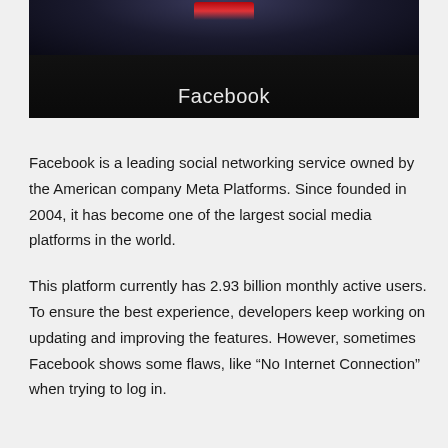[Figure (photo): A dark banner image showing the Facebook logo/wordmark in light text against a dark background with a reddish glow element at the top center.]
Facebook is a leading social networking service owned by the American company Meta Platforms. Since founded in 2004, it has become one of the largest social media platforms in the world.
This platform currently has 2.93 billion monthly active users. To ensure the best experience, developers keep working on updating and improving the features. However, sometimes Facebook shows some flaws, like “No Internet Connection” when trying to log in.